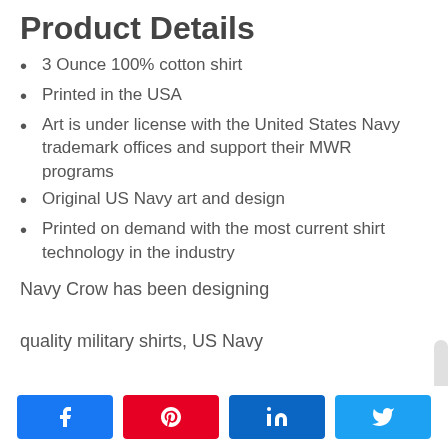Product Details
3 Ounce 100% cotton shirt
Printed in the USA
Art is under license with the United States Navy trademark offices and support their MWR programs
Original US Navy art and design
Printed on demand with the most current shirt technology in the industry
Navy Crow has been designing quality military shirts, US Navy